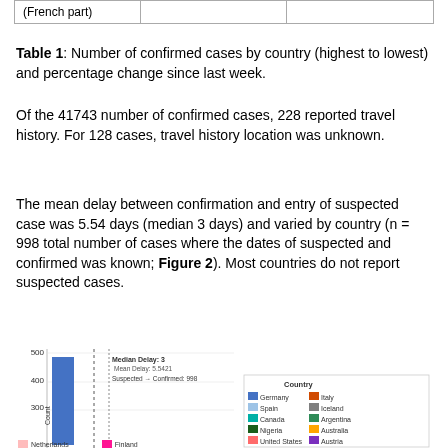| (French part) |  |  |
| --- | --- | --- |
Table 1: Number of confirmed cases by country (highest to lowest) and percentage change since last week.
Of the 41743 number of confirmed cases, 228 reported travel history. For 128 cases, travel history location was unknown.
The mean delay between confirmation and entry of suspected case was 5.54 days (median 3 days) and varied by country (n = 998 total number of cases where the dates of suspected and confirmed was known; Figure 2). Most countries do not report suspected cases.
[Figure (bar-chart): Bar chart showing delay between suspected and confirmed cases. Median Delay: 3, Mean Delay: 5.5421, Suspected → Confirmed: 998. Legend shows countries: Germany, Italy, Spain, Iceland, Canada, Argentina, Nigeria, Australia, United States, Austria, Netherlands, Finland.]